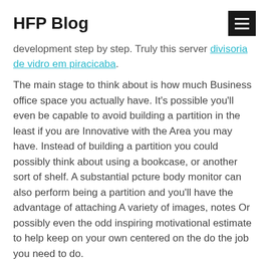HFP Blog
development step by step. Truly this server divisoria de vidro em piracicaba.
The main stage to think about is how much Business office space you actually have. It's possible you'll even be capable to avoid building a partition in the least if you are Innovative with the Area you may have. Instead of building a partition you could possibly think about using a bookcase, or another sort of shelf. A substantial pcture body monitor can also perform being a partition and you'll have the advantage of attaching A variety of images, notes Or possibly even the odd inspiring motivational estimate to help keep on your own centered on the do the job you need to do.
If you select on an entire blown glass partition, you have to